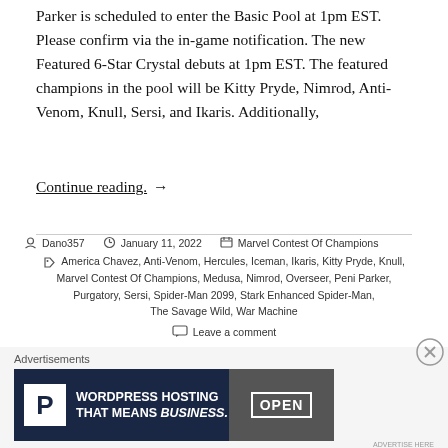Parker is scheduled to enter the Basic Pool at 1pm EST. Please confirm via the in-game notification. The new Featured 6-Star Crystal debuts at 1pm EST. The featured champions in the pool will be Kitty Pryde, Nimrod, Anti-Venom, Knull, Sersi, and Ikaris. Additionally,
Continue reading.  →
Posted by Dano357  |  January 11, 2022  |  Marvel Contest Of Champions
Tags: America Chavez, Anti-Venom, Hercules, Iceman, Ikaris, Kitty Pryde, Knull, Marvel Contest Of Champions, Medusa, Nimrod, Overseer, Peni Parker, Purgatory, Sersi, Spider-Man 2099, Stark Enhanced Spider-Man, The Savage Wild, War Machine
Leave a comment
Advertisements
[Figure (screenshot): WordPress Hosting That Means Business advertisement banner with P logo and OPEN sign image]